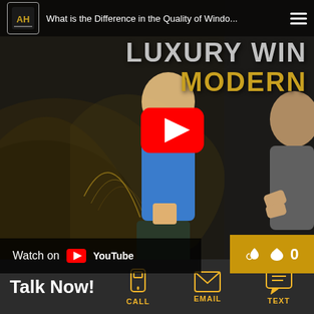[Figure (screenshot): YouTube video thumbnail showing two men against a dark gold/black background. Text overlay reads 'LUXURY WIN... MODERN...' A YouTube play button is visible in the center. Bottom left shows 'Watch on YouTube' bar. Top bar shows channel logo 'AH' and title 'What is the Difference in the Quality of Windo...']
Talk Now!
CALL
EMAIL
TEXT